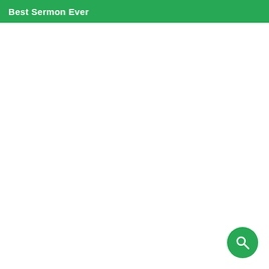Best Sermon Ever
[Figure (other): Green circular search/magnifier button icon in bottom-right corner]